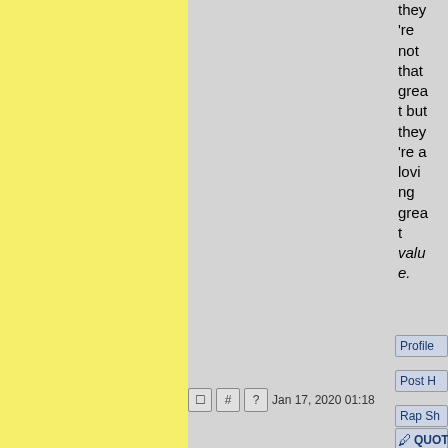they're not that great but they're a loving great value.
Jan 17, 2020 01:18
Profile
Post H
Rap Sh
QUOTE